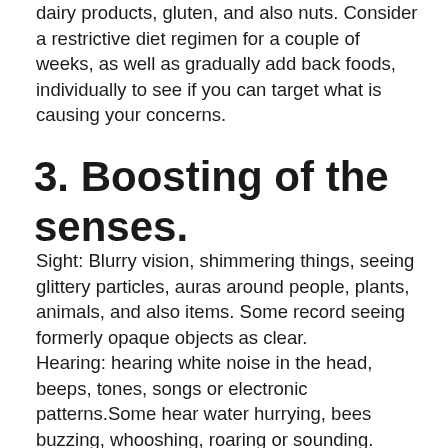dairy products, gluten, and also nuts. Consider a restrictive diet regimen for a couple of weeks, as well as gradually add back foods, individually to see if you can target what is causing your concerns.
3. Boosting of the senses.
Sight: Blurry vision, shimmering things, seeing glittery particles, auras around people, plants, animals, and also items. Some record seeing formerly opaque objects as clear.
Hearing: hearing white noise in the head, beeps, tones, songs or electronic patterns.Some hear water hurrying, bees buzzing, whooshing, roaring or sounding.